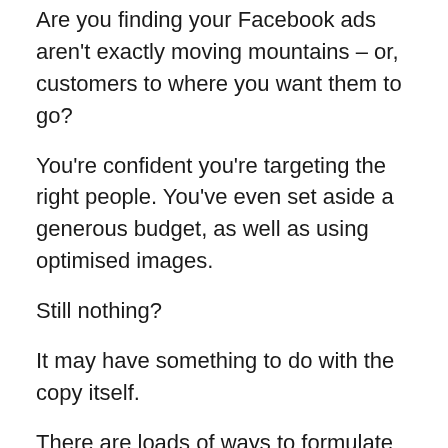Are you finding your Facebook ads aren't exactly moving mountains – or, customers to where you want them to go?

You're confident you're targeting the right people. You've even set aside a generous budget, as well as using optimised images.

Still nothing?

It may have something to do with the copy itself.

There are loads of ways to formulate effective ad copy, from research-led to problem-based.